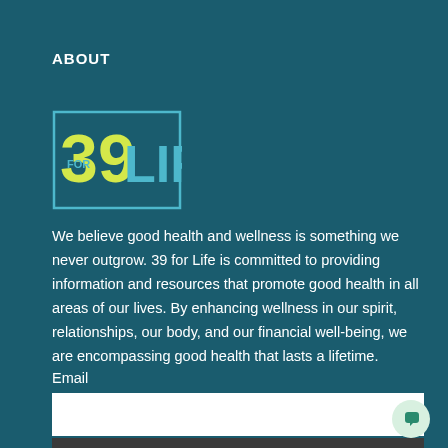ABOUT
[Figure (logo): 39 for Life logo — large yellow '39' with 'FOR' in small teal text inside the '3', and 'LIFE' in large teal letters, all inside a teal-bordered rectangle]
We believe good health and wellness is something we never outgrow. 39 for Life is committed to providing information and resources that promote good health in all areas of our lives. By enhancing wellness in our spirit, relationships, our body, and our financial well-being, we are encompassing good health that lasts a lifetime.
Email
Subscribe